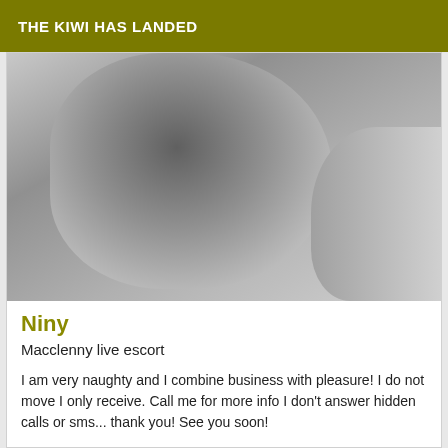THE KIWI HAS LANDED
[Figure (photo): Grayscale close-up portrait photo of a woman looking sideways, with dark hair and a black strap visible on her shoulder]
Niny
Macclenny live escort
I am very naughty and I combine business with pleasure! I do not move I only receive. Call me for more info I don't answer hidden calls or sms... thank you! See you soon!